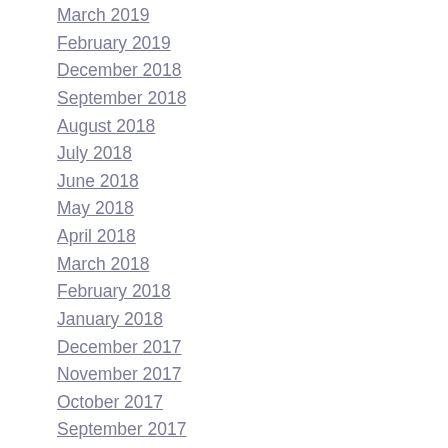March 2019
February 2019
December 2018
September 2018
August 2018
July 2018
June 2018
May 2018
April 2018
March 2018
February 2018
January 2018
December 2017
November 2017
October 2017
September 2017
August 2017
July 2017
June 2017